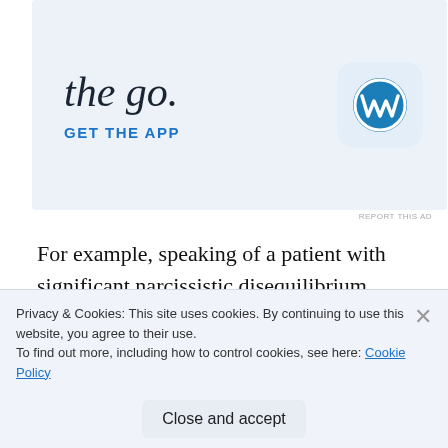[Figure (infographic): WordPress app advertisement banner with large italic text 'the go.' and 'GET THE APP' link, alongside WordPress logo icon]
REPORT THIS AD
For example, speaking of a patient with significant narcissistic disequilibrium, Kohut writes:
When the narcissistic transference has become disrupted, he has the impression that he is not fully real, or at least that his emotions are dulled: he is
Privacy & Cookies: This site uses cookies. By continuing to use this website, you agree to their use.
To find out more, including how to control cookies, see here: Cookie Policy